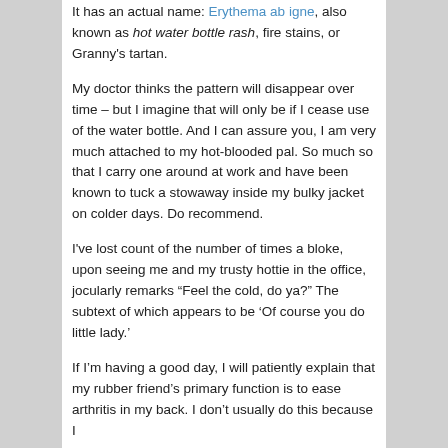It has an actual name: Erythema ab igne, also known as hot water bottle rash, fire stains, or Granny's tartan.
My doctor thinks the pattern will disappear over time – but I imagine that will only be if I cease use of the water bottle. And I can assure you, I am very much attached to my hot-blooded pal. So much so that I carry one around at work and have been known to tuck a stowaway inside my bulky jacket on colder days. Do recommend.
I've lost count of the number of times a bloke, upon seeing me and my trusty hottie in the office, jocularly remarks “Feel the cold, do ya?” The subtext of which appears to be ‘Of course you do little lady.’
If I'm having a good day, I will patiently explain that my rubber friend's primary function is to ease arthritis in my back. I don't usually do this because I